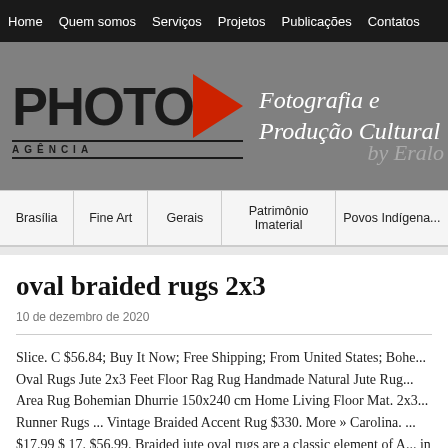Home   Quem somos   Serviços   Projetos   Publicações   Contatos
[Figure (logo): PHOTO Agência logo with red triangle, tagline 'Fotografia e Produção Cultural' and 'by Eraldo' on grey background]
Brasília   Fine Art   Gerais   Patrimônio Imaterial   Povos Indígenas
oval braided rugs 2x3
10 de dezembro de 2020
Slice. C $56.84; Buy It Now; Free Shipping; From United States; Bohe... Oval Rugs Jute 2x3 Feet Floor Rag Rug Handmade Natural Jute Rug... Area Rug Bohemian Dhurrie 150x240 cm Home Living Floor Mat. 2x3... Runner Rugs ... Vintage Braided Accent Rug $330. More » Carolina. ... $17.99 $ 17. $56.99. Braided jute oval rugs are a classic element of A... in America AND Free Shipping. Top subscription boxes – right to your... 2020, Amazon.com, Inc. or its affiliates. Get it in front of 160+ million...